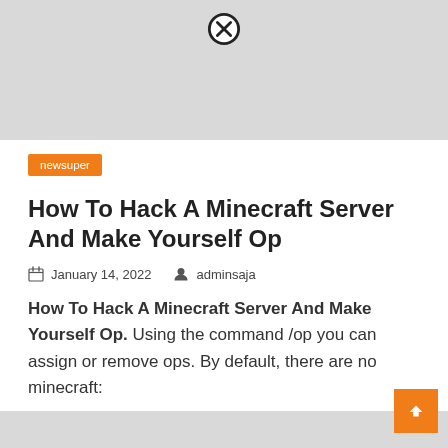[Figure (other): Advertisement banner with close button (X) at top of page, gray background]
newsuper
How To Hack A Minecraft Server And Make Yourself Op
January 14, 2022   adminsaja
How To Hack A Minecraft Server And Make Yourself Op. Using the command /op you can assign or remove ops. By default, there are no minecraft:
[Figure (other): Advertisement banner with close button (X) at bottom of page, gray background]